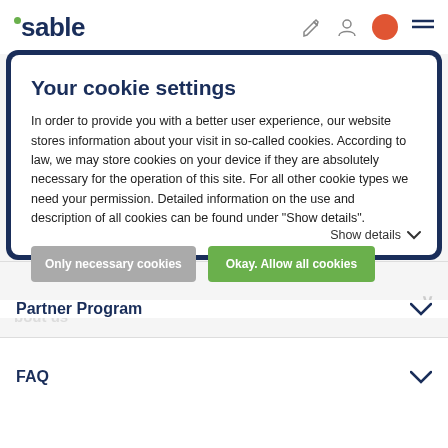isable
Your cookie settings
In order to provide you with a better user experience, our website stores information about your visit in so-called cookies. According to law, we may store cookies on your device if they are absolutely necessary for the operation of this site. For all other cookie types we need your permission. Detailed information on the use and description of all cookies can be found under "Show details".
Only necessary cookies
Okay. Allow all cookies
Show details
Partner Program
FAQ